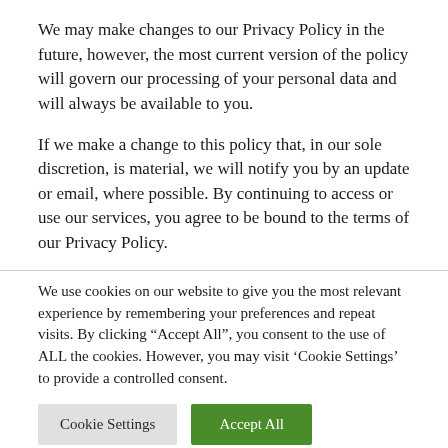We may make changes to our Privacy Policy in the future, however, the most current version of the policy will govern our processing of your personal data and will always be available to you.
If we make a change to this policy that, in our sole discretion, is material, we will notify you by an update or email, where possible. By continuing to access or use our services, you agree to be bound to the terms of our Privacy Policy.
We use cookies on our website to give you the most relevant experience by remembering your preferences and repeat visits. By clicking “Accept All”, you consent to the use of ALL the cookies. However, you may visit ‘Cookie Settings’ to provide a controlled consent.